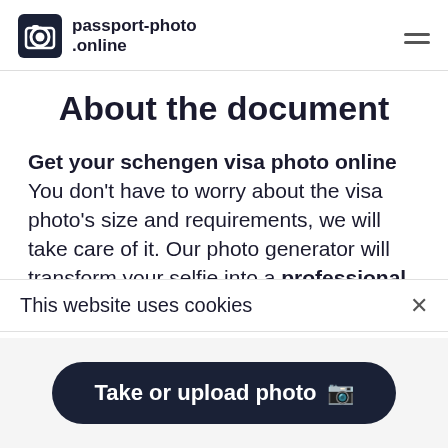passport-photo.online
About the document
Get your schengen visa photo online You don't have to worry about the visa photo's size and requirements, we will take care of it. Our photo generator will transform your selfie into a professional photo for European Union visa!
Just shoot a photograph and upload it! It may take less
This website uses cookies
Take or upload photo 📷